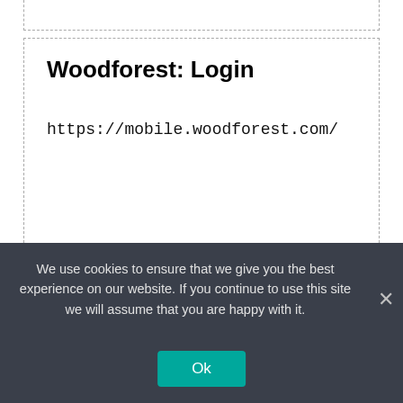Woodforest: Login
https://mobile.woodforest.com/
We use cookies to ensure that we give you the best experience on our website. If you continue to use this site we will assume that you are happy with it.
Ok